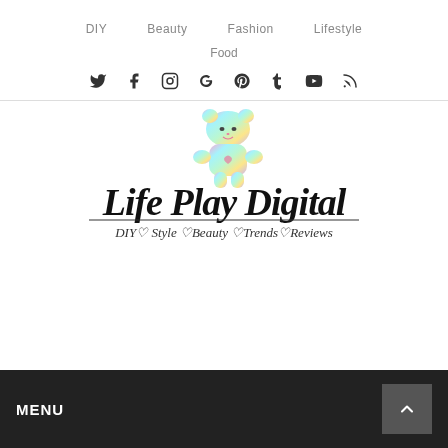DIY   Beauty   Fashion   Lifestyle   Food
[Figure (other): Social media icons row: Twitter, Facebook, Instagram, Google+, Pinterest, Tumblr, YouTube, RSS]
[Figure (logo): Life Play Digital logo with colorful gummy bear character. Text: Life Play Digital. Subtitle: DIY heart Style heart Beauty heart Trends heart Reviews]
MENU